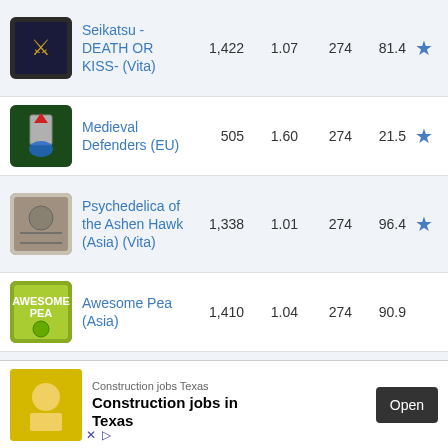Seikatsu - DEATH OR KISS- (Vita) | 1,422 | 1.07 | 274 | 81.4 | star
Medieval Defenders (EU) | 505 | 1.60 | 274 | 21.5 | star
Psychedelica of the Ashen Hawk (Asia) (Vita) | 1,338 | 1.01 | 274 | 96.4 | star
Awesome Pea (Asia) | 1,410 | 1.04 | 274 | 90.9
Date A Live: Ren Dystopia | 1,304 | 1.03 | 274 | 91.2 | star
Snow Journey (JP) (PS4) | 1,351 | 1.00 | 274 | 99.3 | star
Fl... O... | star
Construction jobs Texas – Construction jobs in Texas | Open